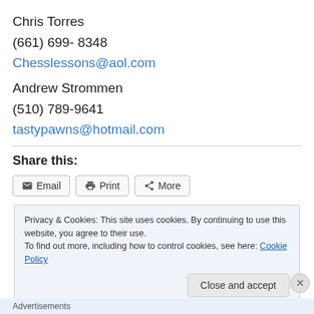Chris Torres
(661) 699- 8348
Chesslessons@aol.com
Andrew Strommen
(510) 789-9641
tastypawns@hotmail.com
Share this:
Email  Print  More
Privacy & Cookies: This site uses cookies. By continuing to use this website, you agree to their use.
To find out more, including how to control cookies, see here: Cookie Policy
Close and accept
Advertisements